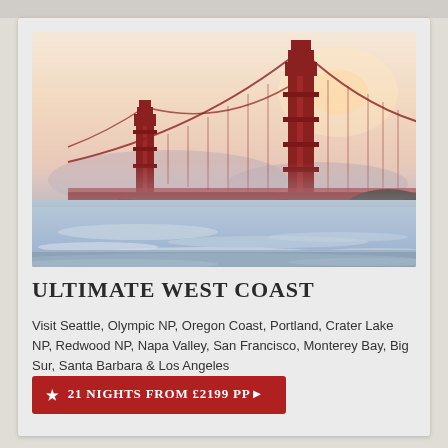[Figure (photo): Golden Gate Bridge at dusk/dawn with soft pink and peach sky, blue-toned water with gentle waves in the foreground, rocky shoreline, misty atmospheric perspective]
Ultimate West Coast
Visit Seattle, Olympic NP, Oregon Coast, Portland, Crater Lake NP, Redwood NP, Napa Valley, San Francisco, Monterey Bay, Big Sur, Santa Barbara & Los Angeles
21 NIGHTS FROM £2199 PP>